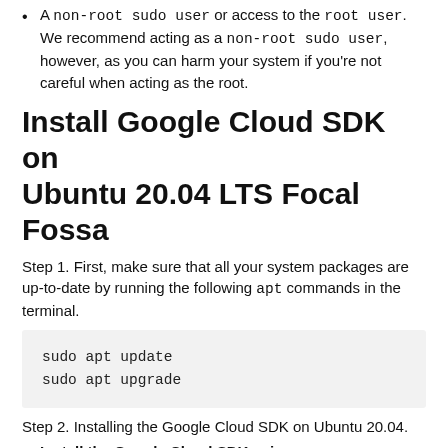A non-root sudo user or access to the root user. We recommend acting as a non-root sudo user, however, as you can harm your system if you're not careful when acting as the root.
Install Google Cloud SDK on Ubuntu 20.04 LTS Focal Fossa
Step 1. First, make sure that all your system packages are up-to-date by running the following apt commands in the terminal.
sudo apt update
sudo apt upgrade
Step 2. Installing the Google Cloud SDK on Ubuntu 20.04.
Install the Google Cloud SDK using snaps
Run the following commands to install it: